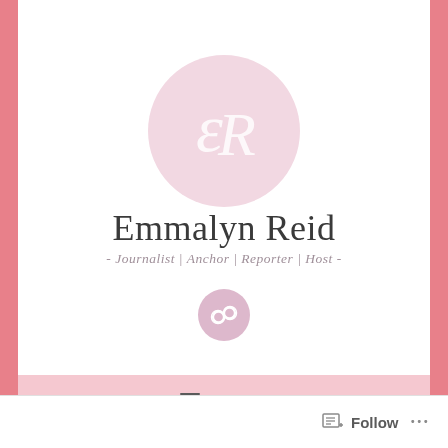[Figure (logo): Circular pink logo with stylized cursive 'ER' monogram in white on a light pink background]
Emmalyn Reid
- Journalist | Anchor | Reporter | Host -
[Figure (illustration): Small pink circle button with a chain/link icon]
≡ MENU
Follow ...